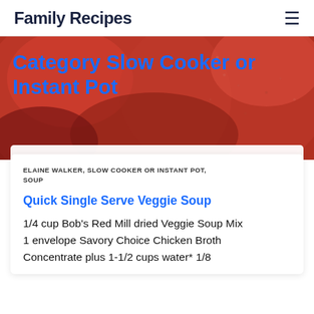Family Recipes
[Figure (photo): Close-up photo of red apples with a glossy surface, used as a hero background image]
Category Slow Cooker or Instant Pot
ELAINE WALKER, SLOW COOKER OR INSTANT POT, SOUP
Quick Single Serve Veggie Soup
1/4 cup Bob's Red Mill dried Veggie Soup Mix 1 envelope Savory Choice Chicken Broth Concentrate plus 1-1/2 cups water* 1/8